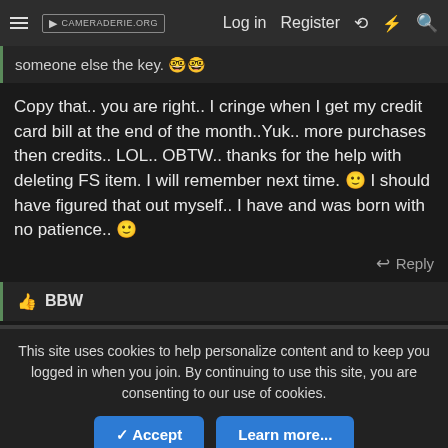CAMERADERIE.ORG  Log in  Register
someone else the key. 🤓🤓
Copy that.. you are right.. I cringe when I get my credit card bill at the end of the month..Yuk.. more purchases then credits.. LOL.. OBTW.. thanks for the help with deleting FS item. I will remember next time. 🙂 I should have figured that out myself.. I have and was born with no patience.. 🙂
👍 BBW
This site uses cookies to help personalize content and to keep you logged in when you join. By continuing to use this site, you are consenting to our use of cookies.